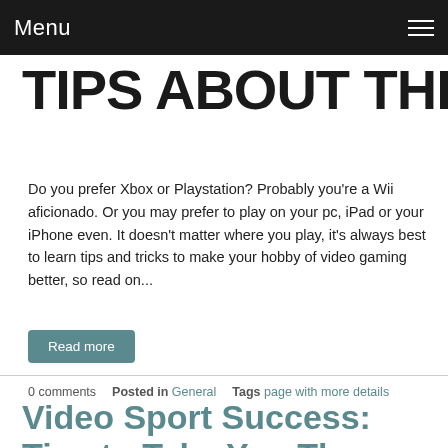Menu
TIPS ABOUT The Web
Do you prefer Xbox or Playstation? Probably you're a Wii aficionado. Or you may prefer to play on your pc, iPad or your iPhone even. It doesn't matter where you play, it's always best to learn tips and tricks to make your hobby of video gaming better, so read on...
Read more
0 comments   Posted in General   Tags page with more details
Video Sport Success: Tips to Take You There